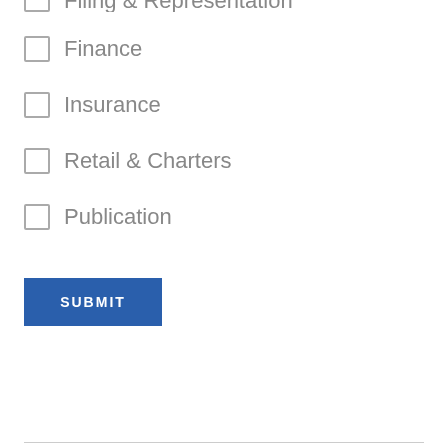Filing & Representation
Finance
Insurance
Retail & Charters
Publication
SUBMIT